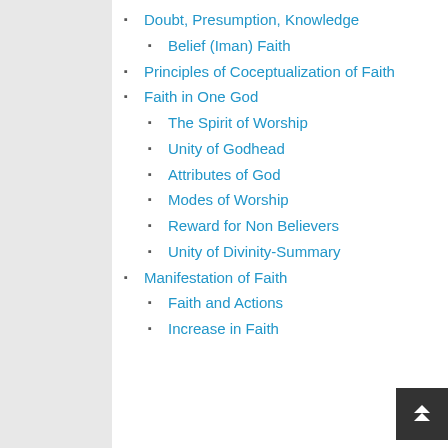Doubt, Presumption, Knowledge
Belief (Iman) Faith
Principles of Coceptualization of Faith
Faith in One God
The Spirit of Worship
Unity of Godhead
Attributes of God
Modes of Worship
Reward for Non Believers
Unity of Divinity-Summary
Manifestation of Faith
Faith and Actions
Increase in Faith